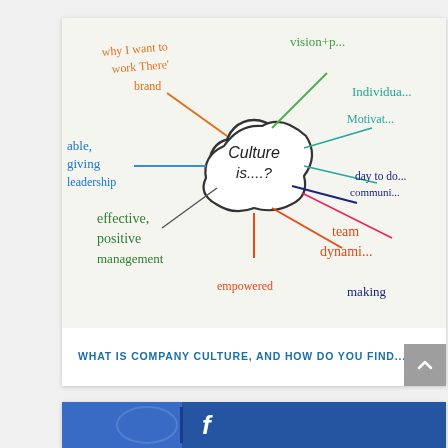[Figure (photo): A whiteboard mind map with a cloud shape in the center reading 'Culture is....?' with colorful handwritten words branching out: 'why I want to work there brand' (orange), 'able, giving, leadership' (blue), 'vision+p...' (green), 'Individua...' (teal), 'Motivat...' (teal), 'day to do... communi...' (dark blue), 'effective, positive management' (dark green), 'team dynamic...' (red-orange), 'empowered making' (orange/dark blue)]
WHAT IS COMPANY CULTURE, AND HOW DO YOU FIND...
[Figure (photo): Partial image showing what appears to be a blue surface with a logo, partially cut off at the bottom of the page]